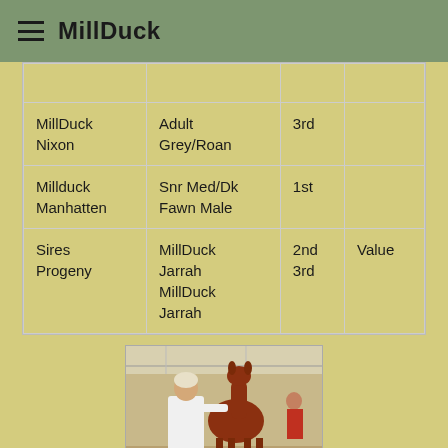MillDuck
|  |  |  |  |
| --- | --- | --- | --- |
|  |  |  |  |
| MillDuck Nixon | Adult Grey/Roan | 3rd |  |
| Millduck Manhatten | Snr Med/Dk Fawn Male | 1st |  |
| Sires Progeny | MillDuck Jarrah
MillDuck Jarrah | 2nd
3rd | Value |
[Figure (photo): Person in white coat holding a brown/reddish alpaca in an indoor show arena]